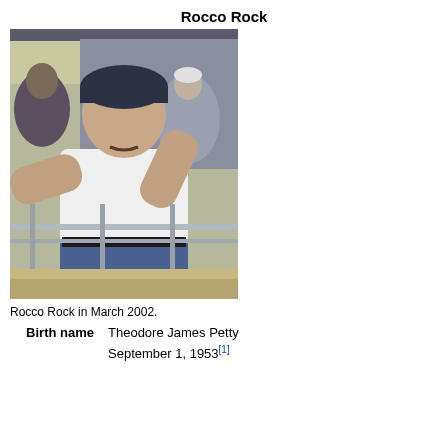Rocco Rock
[Figure (photo): Photograph of Rocco Rock at a wrestling event in March 2002, wearing a white t-shirt, blue jeans, and a dark beanie hat, leaning over a railing.]
Rocco Rock in March 2002.
| Birth name | Theodore James Petty |
|  | September 1, 1953[1] |